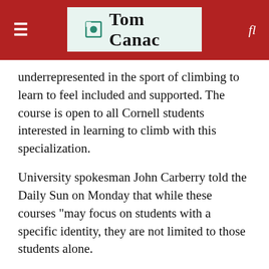Tom Canac
underrepresented in the sport of climbing to learn to feel included and supported. The course is open to all Cornell students interested in learning to climb with this specialization.
University spokesman John Carberry told the Daily Sun on Monday that while these courses “may focus on students with a specific identity, they are not limited to those students alone.
“Cornell has many programs that support the interests and perspectives of different parts of our community,” he added. â€œWe encourage any interested student to take advantage of the unique opportunities on campus to learn from and with many diverse perspectives and voices on campus. ”